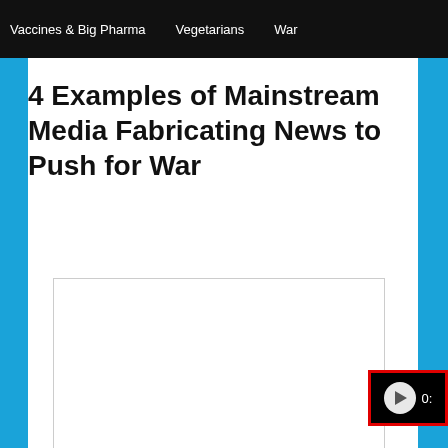Vaccines & Big Pharma    Vegetarians    War
4 Examples of Mainstream Media Fabricating News to Push for War
[Figure (screenshot): A white video/media embed box with a video player control bar showing a play button and timestamp starting with '0:' at the bottom right, outlined with a red border.]